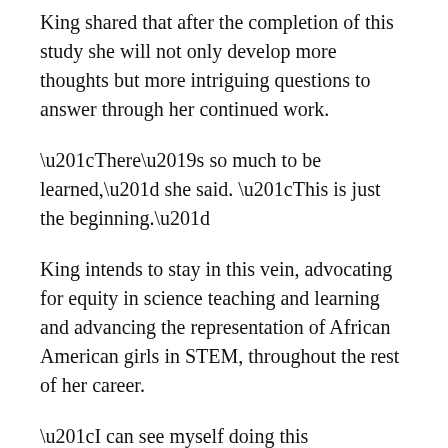King shared that after the completion of this study she will not only develop more thoughts but more intriguing questions to answer through her continued work.
“There’s so much to be learned,” she said. “This is just the beginning.”
King intends to stay in this vein, advocating for equity in science teaching and learning and advancing the representation of African American girls in STEM, throughout the rest of her career.
“I can see myself doing this forever,” she said.